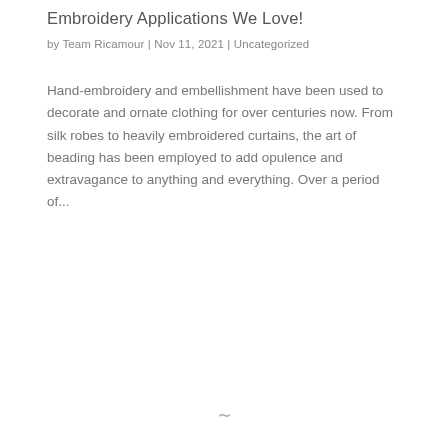Embroidery Applications We Love!
by Team Ricamour | Nov 11, 2021 | Uncategorized
Hand-embroidery and embellishment have been used to decorate and ornate clothing for over centuries now. From silk robes to heavily embroidered curtains, the art of beading has been employed to add opulence and extravagance to anything and everything. Over a period of...